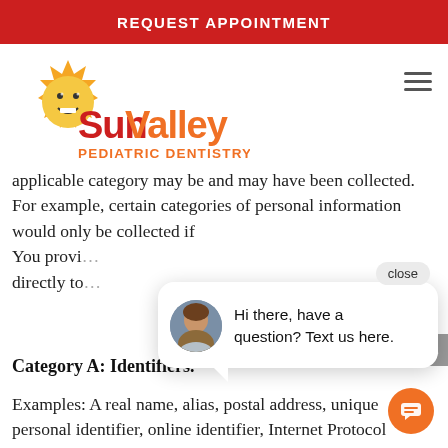REQUEST APPOINTMENT
[Figure (logo): Sun Valley Pediatric Dentistry logo with smiling sun icon]
applicable category may be and may have been collected. For example, certain categories of personal information would only be collected if You provi... directly to...
Category A: Identifiers.
Examples: A real name, alias, postal address, unique personal identifier, online identifier, Internet Protocol...
[Figure (screenshot): Chat popup with avatar photo of woman and text: Hi there, have a question? Text us here. With close button and orange chat icon.]